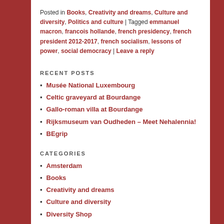Posted in Books, Creativity and dreams, Culture and diversity, Politics and culture | Tagged emmanuel macron, francois hollande, french presidency, french president 2012-2017, french socialism, lessons of power, social democracy | Leave a reply
RECENT POSTS
Musée National Luxembourg
Celtic graveyard at Bourdange
Gallo-roman villa at Bourdange
Rijksmuseum van Oudheden – Meet Nehalennia!
BEgrip
CATEGORIES
Amsterdam
Books
Creativity and dreams
Culture and diversity
Diversity Shop